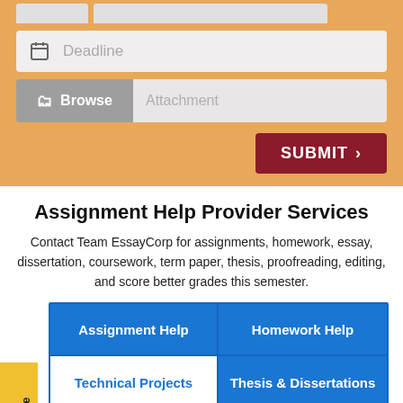[Figure (screenshot): Form area with deadline input, browse/attachment field, and submit button on orange background]
Assignment Help Provider Services
Contact Team EssayCorp for assignments, homework, essay, dissertation, coursework, term paper, thesis, proofreading, editing, and score better grades this semester.
Assignment Help
Homework Help
Technical Projects
Thesis & Dissertations
Other
Struggling with Assignments? WhatsApp Us